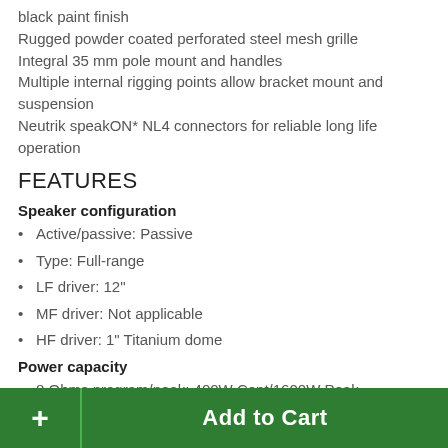black paint finish
Rugged powder coated perforated steel mesh grille
Integral 35 mm pole mount and handles
Multiple internal rigging points allow bracket mount and suspension
Neutrik speakON* NL4 connectors for reliable long life operation
FEATURES
Speaker configuration
Active/passive: Passive
Type: Full-range
LF driver: 12"
MF driver: Not applicable
HF driver: 1" Titanium dome
Power capacity
8 Ohms program/peak: 400W Cont/1600W Peak
+ Add to Cart